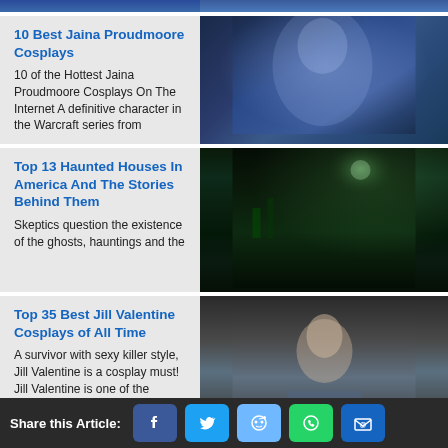[Figure (photo): Partial top image - cosplay or game character, blue tones]
10 Best Jaina Proudmoore Cosplays
10 of the Hottest Jaina Proudmoore Cosplays On The Internet  A definitive character in the Warcraft series from
[Figure (photo): Photo of Jaina Proudmoore cosplay, dark blue fantasy tones]
Top 13 Haunted Houses In America And The Stories Behind Them
Skeptics question the existence of the ghosts, hauntings and the
[Figure (photo): Dark haunted house scene with green moonlit atmosphere]
Top 35 Best Jill Valentine Cosplays of All Time
A survivor with sexy killer style, Jill Valentine is a cosplay must! Jill Valentine is one of the
[Figure (photo): Photo of Jill Valentine cosplay, dark-haired woman]
Top 30 Best Tifa Cosplays We've Ever Seen
[Figure (photo): Photo of Tifa cosplay, dark-haired woman]
Share this Article: